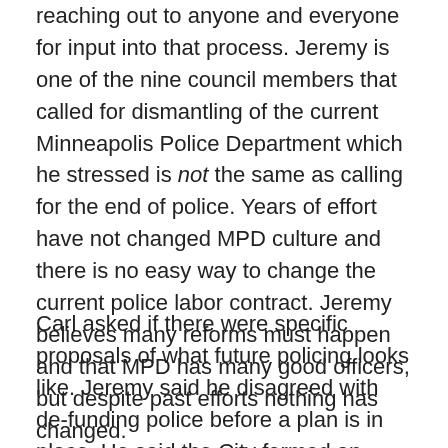reaching out to anyone and everyone for input into that process. Jeremy is one of the nine council members that called for dismantling of the current Minneapolis Police Department which he stressed is not the same as calling for the end of police. Years of effort have not changed MPD culture and there is no easy way to change the current police labor contract. Jeremy believes many reforms must happen and that MPD has many good officers, but despite past efforts nothing has changed.
Carl asked if there were specific proposals of what future policing looks like. Jeremy said he disagreed with de-funding police before a plan is in place. He said the City formed an Office of Community Prevention two years ago to handle some public safety functions and that's been working well. The City did a 911 call